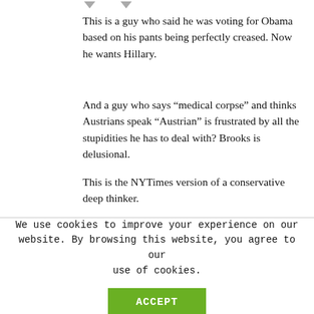This is a guy who said he was voting for Obama based on his pants being perfectly creased. Now he wants Hillary.
And a guy who says “medical corpse” and thinks Austrians speak “Austrian” is frustrated by all the stupidities he has to deal with? Brooks is delusional.
This is the NYTimes version of a conservative deep thinker.
We use cookies to improve your experience on our website. By browsing this website, you agree to our use of cookies.